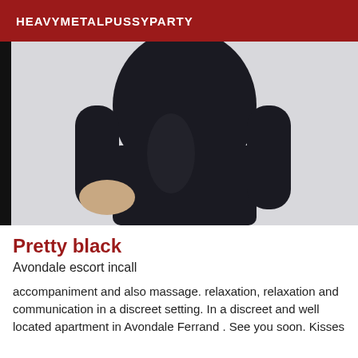HEAVYMETALPUSSYPARTY
[Figure (photo): Torso of a person wearing a tight black long-sleeve dress against a white background]
Pretty black
Avondale escort incall
accompaniment and also massage. relaxation, relaxation and communication in a discreet setting. In a discreet and well located apartment in Avondale Ferrand . See you soon. Kisses